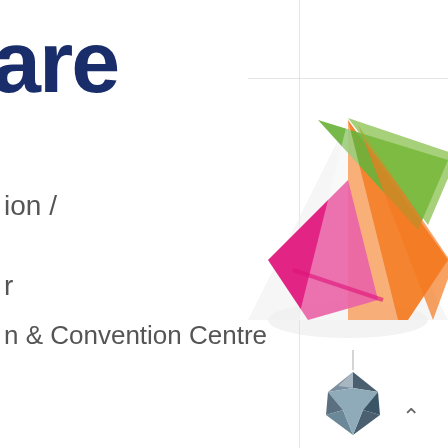are
ion /
r
n & Convention Centre
[Figure (logo): Colorful triangular logo/emblem formed by overlapping triangular shapes in orange, green, magenta/pink and white, resembling a 3D geometric star or conference event logo]
[Figure (illustration): Faceted gemstone or diamond shape in dark steel/grey color, suspended below the triangular logo by a thin line]
^